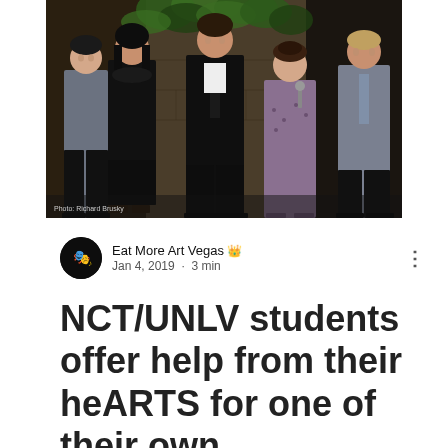[Figure (photo): Five performers standing on a stage with ivy-covered stone wall backdrop. From left: young man in grey shirt, woman in black dress, man in black suit, woman in patterned dress, man in grey suit. They appear to be performing or posing during a theatrical production.]
Photo: Richard Brusky
Eat More Art Vegas 👑
Jan 4, 2019 · 3 min
NCT/UNLV students offer help from their heARTS for one of their own,